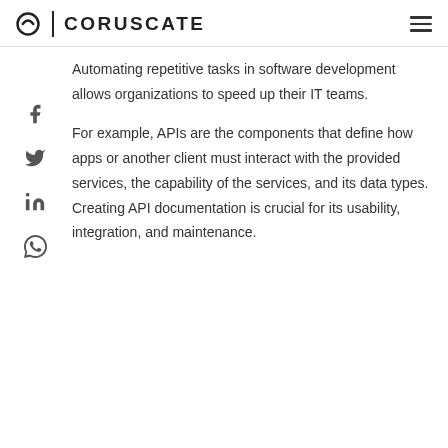CORUSCATE
Automating repetitive tasks in software development allows organizations to speed up their IT teams.
For example, APIs are the components that define how apps or another client must interact with the provided services, the capability of the services, and its data types. Creating API documentation is crucial for its usability, integration, and maintenance.